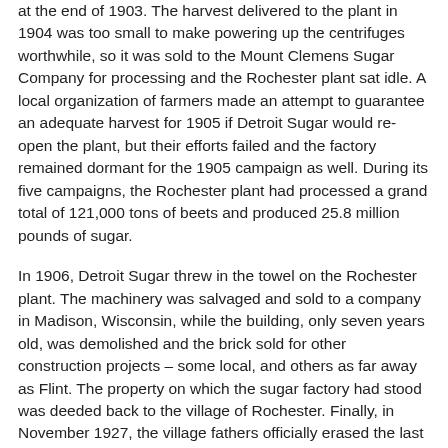at the end of 1903. The harvest delivered to the plant in 1904 was too small to make powering up the centrifuges worthwhile, so it was sold to the Mount Clemens Sugar Company for processing and the Rochester plant sat idle. A local organization of farmers made an attempt to guarantee an adequate harvest for 1905 if Detroit Sugar would re-open the plant, but their efforts failed and the factory remained dormant for the 1905 campaign as well. During its five campaigns, the Rochester plant had processed a grand total of 121,000 tons of beets and produced 25.8 million pounds of sugar.
In 1906, Detroit Sugar threw in the towel on the Rochester plant. The machinery was salvaged and sold to a company in Madison, Wisconsin, while the building, only seven years old, was demolished and the brick sold for other construction projects – some local, and others as far away as Flint. The property on which the sugar factory had stood was deeded back to the village of Rochester. Finally, in November 1927, the village fathers officially erased the last reminder of the Detroit Sugar Company when they voted to change the name of Sugar Avenue to Woodward Street, thereby